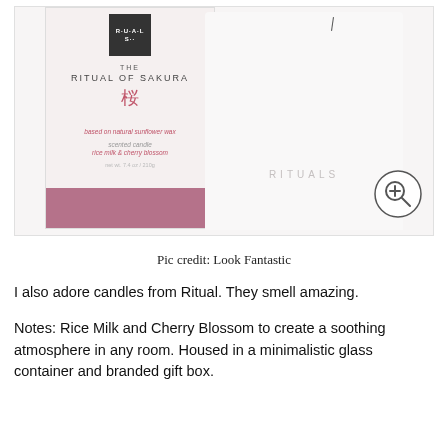[Figure (photo): Product photo of Rituals 'The Ritual of Sakura' scented candle packaging box (white with mauve stripe, dark logo square, cherry blossom kanji) alongside a white cylindrical candle with RITUALS branding, plus a magnifying glass zoom icon overlay.]
Pic credit: Look Fantastic
I also adore candles from Ritual. They smell amazing.
Notes: Rice Milk and Cherry Blossom to create a soothing atmosphere in any room. Housed in a minimalistic glass container and branded gift box.